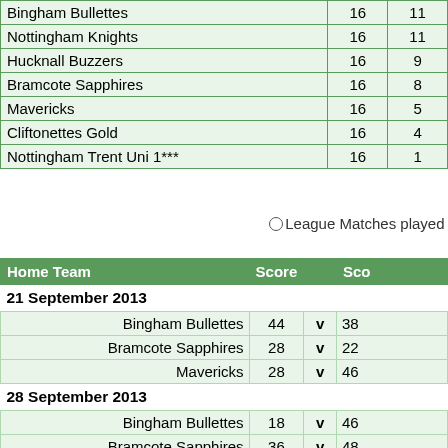| Team | Played | Won |
| --- | --- | --- |
| Bingham Bullettes | 16 | 11 |
| Nottingham Knights | 16 | 11 |
| Hucknall Buzzers | 16 | 9 |
| Bramcote Sapphires | 16 | 8 |
| Mavericks | 16 | 5 |
| Cliftonettes Gold | 16 | 4 |
| Nottingham Trent Uni 1*** | 16 | 1 |
○ League Matches played
| Home Team | Score | Sco… |
| --- | --- | --- |
| 21 September 2013 |  |  |
| Bingham Bullettes | 44 v 38 |  |
| Bramcote Sapphires | 28 v 22 |  |
| Mavericks | 28 v 46 |  |
| 28 September 2013 |  |  |
| Bingham Bullettes | 18 v 46 |  |
| Bramcote Sapphires | 36 v 48 |  |
| Cliftonettes Gold | 16 v 44 |  |
| Cliftonettes Royal | 35 v 26 |  |